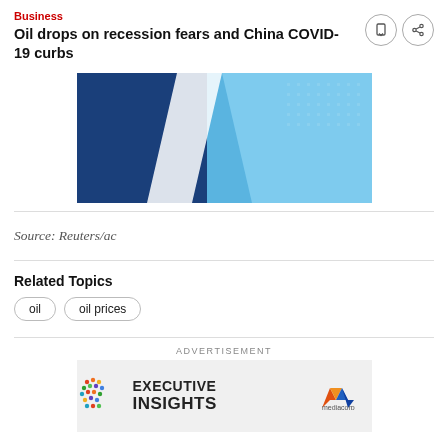Business
Oil drops on recession fears and China COVID-19 curbs
[Figure (photo): Abstract blue geometric shapes — dark navy and light blue panels overlapping, with a dotted grid pattern on the right side.]
Source: Reuters/ac
Related Topics
oil
oil prices
ADVERTISEMENT
[Figure (logo): Executive Insights advertisement banner with colorful dot globe logo on left and Mediacorp logo on right.]